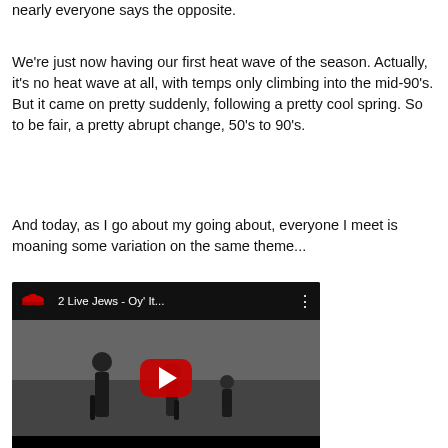nearly everyone says the opposite.
We're just now having our first heat wave of the season. Actually, it's no heat wave at all, with temps only climbing into the mid-90's. But it came on pretty suddenly, following a pretty cool spring. So to be fair, a pretty abrupt change, 50's to 90's.
And today, as I go about my going about, everyone I meet is moaning some variation on the same theme...
[Figure (screenshot): YouTube video thumbnail showing '2 Live Jews - Oy' It...' with a black and white vintage scene of two figures and a red play button overlay.]